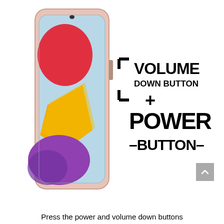[Figure (illustration): A Samsung Galaxy smartphone (pink/rose gold color) displayed upright with a colorful abstract wallpaper (red, orange/yellow, purple blobs on light blue background). To the right of the phone, a bracket symbol with large bold text reading 'VOLUME DOWN BUTTON + POWER -BUTTON-'. A small scroll-to-top button (grey with upward chevron) appears in the bottom-right corner.]
Press the power and volume down buttons